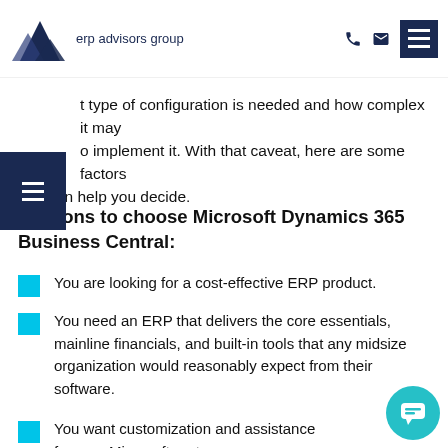erp advisors group
t type of configuration is needed and how complex it may to implement it. With that caveat, here are some factors that can help you decide.
Reasons to choose Microsoft Dynamics 365 Business Central:
You are looking for a cost-effective ERP product.
You need an ERP that delivers the core essentials, mainline financials, and built-in tools that any midsize organization would reasonably expect from their software.
You want customization and assistance from an Microsoft partner.